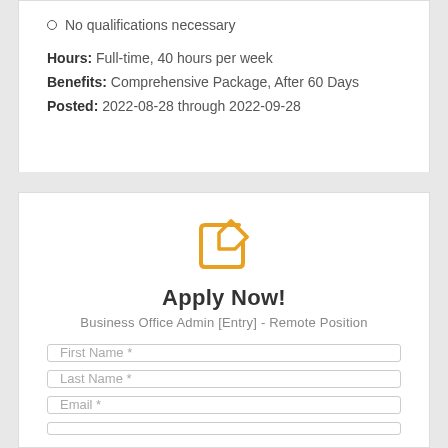No qualifications necessary
Hours: Full-time, 40 hours per week
Benefits: Comprehensive Package, After 60 Days
Posted: 2022-08-28 through 2022-09-28
[Figure (illustration): Orange edit/pencil icon inside a square with rounded corners]
Apply Now!
Business Office Admin [Entry] - Remote Position
First Name *
Last Name *
Email *